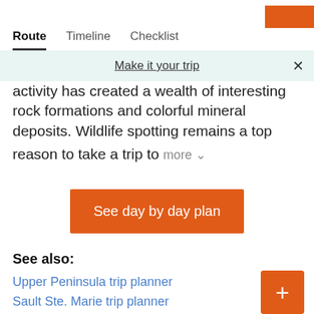Route  Timeline  Checklist
Make it your trip
activity has created a wealth of interesting rock formations and colorful mineral deposits. Wildlife spotting remains a top reason to take a trip to
more
See day by day plan
See also:
Upper Peninsula trip planner
Sault Ste. Marie trip planner